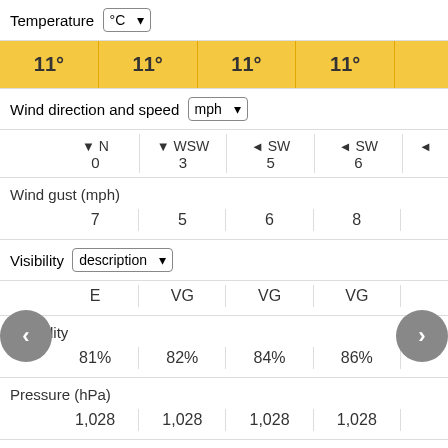Temperature °C
| Col1 | Col2 | Col3 | Col4 |
| --- | --- | --- | --- |
| 11° | 11° | 11° | 11° |
Wind direction and speed mph
| Col1 | Col2 | Col3 | Col4 |
| --- | --- | --- | --- |
| ▼ N
0 | ▼ WSW
3 | ◄ SW
5 | ◄ SW
6 |
Wind gust (mph)
| Col1 | Col2 | Col3 | Col4 |
| --- | --- | --- | --- |
| 7 | 5 | 6 | 8 |
Visibility description
| Col1 | Col2 | Col3 | Col4 |
| --- | --- | --- | --- |
| E | VG | VG | VG |
Humidity
| Col1 | Col2 | Col3 | Col4 |
| --- | --- | --- | --- |
| 81% | 82% | 84% | 86% |
Pressure (hPa)
| Col1 | Col2 | Col3 | Col4 |
| --- | --- | --- | --- |
| 1,028 | 1,028 | 1,028 | 1,028 |
Pressure tendency